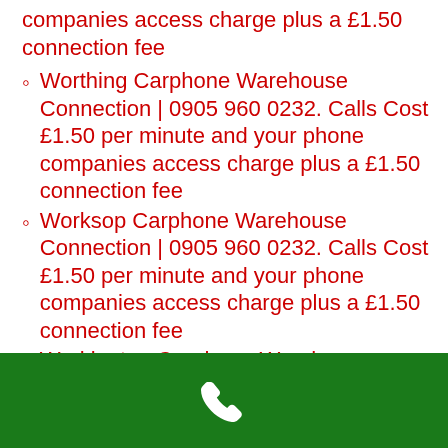companies access charge plus a £1.50 connection fee
Worthing Carphone Warehouse Connection | 0905 960 0232. Calls Cost £1.50 per minute and your phone companies access charge plus a £1.50 connection fee
Worksop Carphone Warehouse Connection | 0905 960 0232. Calls Cost £1.50 per minute and your phone companies access charge plus a £1.50 connection fee
Workington Carphone Warehouse Connection | 0905 960 0232. Calls Cost £1.50 per minute and your phone companies access charge plus a £1.50 connection fee
Worcester Carphone Warehouse Connection | 0905 960 0232. Calls Cost £1.50 per minute and your phone companies access charge plus a £1.50 connection fee
Wolverhampton Carphone Warehouse Connection | 0905 960 0232. Calls Cost £1.50 per minute and your phone companies access charge plus a £1.50 connection fee
[Figure (other): Green bar with white phone handset icon at the bottom of the page]